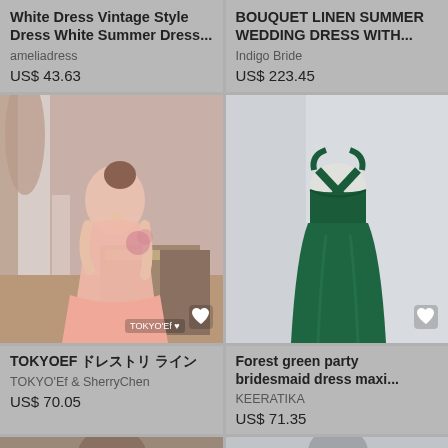White Dress Vintage Style Dress White Summer Dress...
ameliadress
US$ 43.63
BOUQUET LINEN SUMMER WEDDING DRESS WITH...
Indigo Bride
US$ 223.45
[Figure (photo): Woman in pink long dress viewed from behind in a styled room, with TOKYO'Ef watermark and heart icon]
[Figure (photo): Forest green backless maxi dress on mannequin with heart icon]
TOKYOEF 드레스토리 라인
TOKYO'Ef & SherryChen
US$ 70.05
Forest green party bridesmaid dress maxi...
KEERATIKA
US$ 71.35
[Figure (photo): Partial photo of model at bottom left]
[Figure (photo): Partial photo of dress at bottom right]